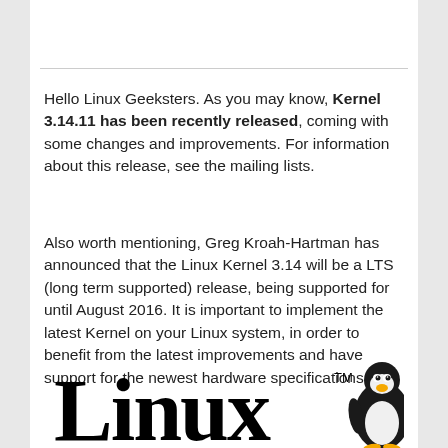Hello Linux Geeksters. As you may know, Kernel 3.14.11 has been recently released, coming with some changes and improvements. For information about this release, see the mailing lists.
Also worth mentioning, Greg Kroah-Hartman has announced that the Linux Kernel 3.14 will be a LTS (long term supported) release, being supported for until August 2016. It is important to implement the latest Kernel on your Linux system, in order to benefit from the latest improvements and have support for the newest hardware specifications.
[Figure (logo): Linux logo with Tux penguin mascot. Large bold 'Linux' text with TM superscript, and a black and white penguin on the right.]